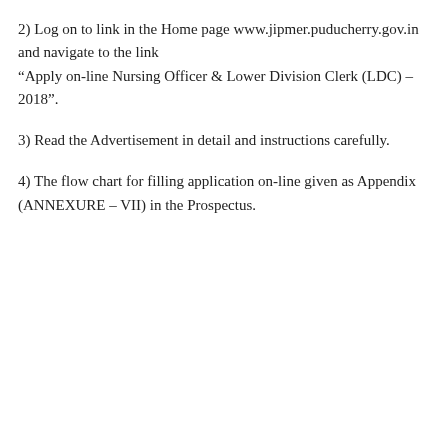2) Log on to link in the Home page www.jipmer.puducherry.gov.in and navigate to the link “Apply on-line Nursing Officer & Lower Division Clerk (LDC) – 2018”.
3) Read the Advertisement in detail and instructions carefully.
4) The flow chart for filling application on-line given as Appendix (ANNEXURE – VII) in the Prospectus.